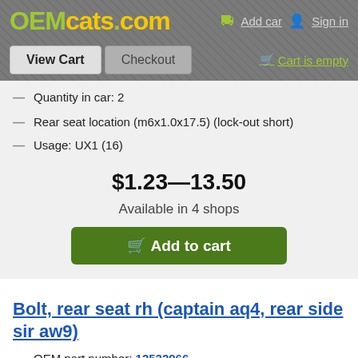OEMcats.com — Add car | Sign in | View Cart | Checkout | Cart is empty
Quantity in car: 2
Rear seat location (m6x1.0x17.5) (lock-out short)
Usage: UX1 (16)
$1.23—13.50
Available in 4 shops
Add to cart
Bolt, rear seat rh (captain aq4, rear side sir aw9)
OEM part number: 12532966
Quantity in car: 2
Rear seat location (m6x1.0x27.6) (lock-out long)